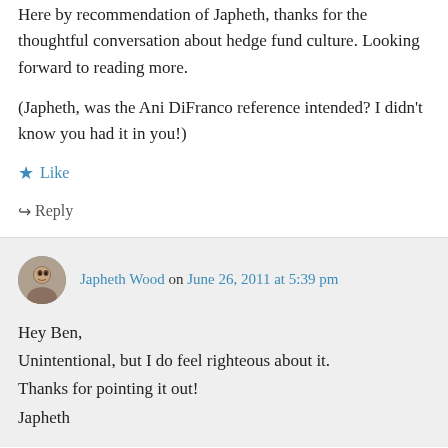Here by recommendation of Japheth, thanks for the thoughtful conversation about hedge fund culture. Looking forward to reading more.
(Japheth, was the Ani DiFranco reference intended? I didn't know you had it in you!)
Like
↳ Reply
Japheth Wood on June 26, 2011 at 5:39 pm
Hey Ben,
Unintentional, but I do feel righteous about it.
Thanks for pointing it out!
Japheth